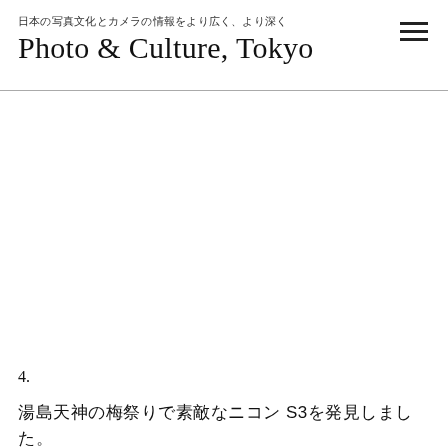日本の写真文化とカメラの情報をより広く、より深く
Photo & Culture, Tokyo
[Figure (photo): Large white/blank image area below the site header, representing a photograph placeholder on the article page.]
4.
湯島天神の梅祭りで素敵なニコン S3を発見しました。